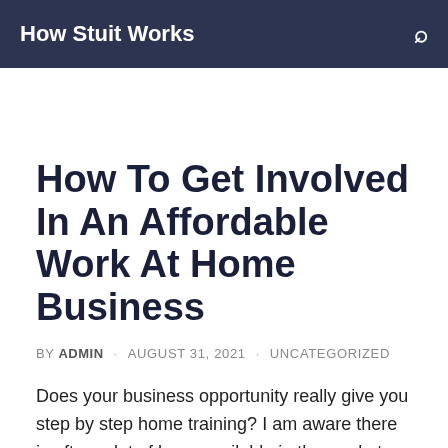How Stuit Works
How To Get Involved In An Affordable Work At Home Business
BY ADMIN · AUGUST 31, 2021 · UNCATEGORIZED
Does your business opportunity really give you step by step home training? I am aware there is often a lot of hype available in the market about getting it, when I found my